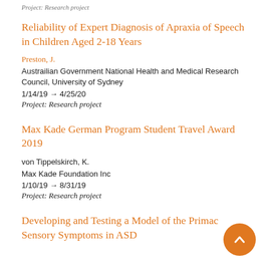Project: Research project
Reliability of Expert Diagnosis of Apraxia of Speech in Children Aged 2-18 Years
Preston, J.
Austrailian Government National Health and Medical Research Council, University of Sydney
1/14/19 → 4/25/20
Project: Research project
Max Kade German Program Student Travel Award 2019
von Tippelskirch, K.
Max Kade Foundation Inc
1/10/19 → 8/31/19
Project: Research project
Developing and Testing a Model of the Primacy of Sensory Symptoms in ASD